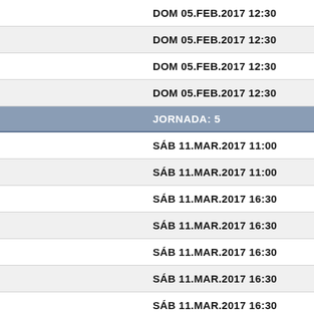| Date | Time |
| --- | --- |
| DOM 05.FEB.2017 | 12:30 |
| DOM 05.FEB.2017 | 12:30 |
| DOM 05.FEB.2017 | 12:30 |
| DOM 05.FEB.2017 | 12:30 |
| JORNADA: 5 |  |
| SÁB 11.MAR.2017 | 11:00 |
| SÁB 11.MAR.2017 | 11:00 |
| SÁB 11.MAR.2017 | 16:30 |
| SÁB 11.MAR.2017 | 16:30 |
| SÁB 11.MAR.2017 | 16:30 |
| SÁB 11.MAR.2017 | 16:30 |
| SÁB 11.MAR.2017 | 16:30 |
| SÁB 11.MAR.2017 | 19:00 |
| SÁB 11.MAR.2017 | 19:00 |